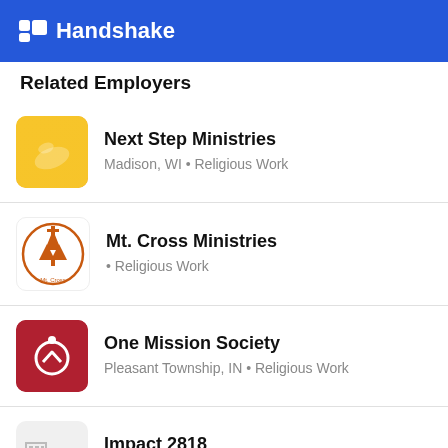Handshake
Related Employers
Next Step Ministries — Madison, WI • Religious Work
Mt. Cross Ministries — • Religious Work
One Mission Society — Pleasant Township, IN • Religious Work
Impact 2818 — Indianapolis, IN • Religious Work
Kids Alive International